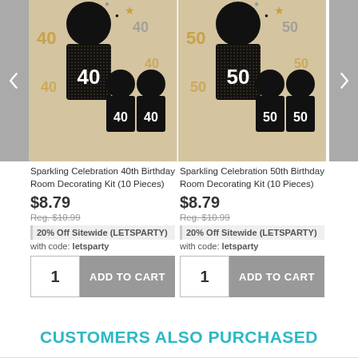[Figure (photo): Sparkling Celebration 40th Birthday Room Decorating Kit product photo showing black and gold decorative figures with number 40]
Sparkling Celebration 40th Birthday Room Decorating Kit (10 Pieces)
$8.79
Reg. $10.99
20% Off Sitewide (LETSPARTY)
with code: letsparty
[Figure (photo): Sparkling Celebration 50th Birthday Room Decorating Kit product photo showing black and gold decorative figures with number 50]
Sparkling Celebration 50th Birthday Room Decorating Kit (10 Pieces)
$8.79
Reg. $10.99
20% Off Sitewide (LETSPARTY)
with code: letsparty
CUSTOMERS ALSO PURCHASED